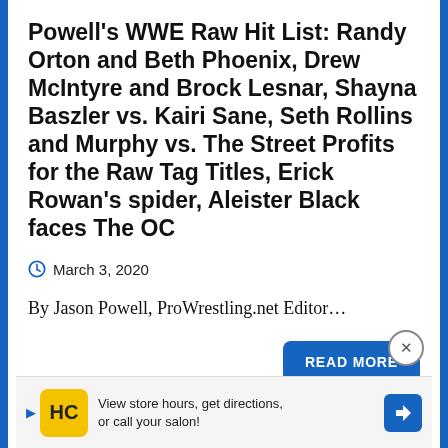Powell's WWE Raw Hit List: Randy Orton and Beth Phoenix, Drew McIntyre and Brock Lesnar, Shayna Baszler vs. Kairi Sane, Seth Rollins and Murphy vs. The Street Profits for the Raw Tag Titles, Erick Rowan's spider, Aleister Black faces The OC
March 3, 2020
By Jason Powell, ProWrestling.net Editor...
READ MORE
03/02 Powell's WWE Raw audio revi... e att...
View store hours, get directions, or call your salon!